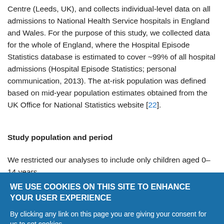Centre (Leeds, UK), and collects individual-level data on all admissions to National Health Service hospitals in England and Wales. For the purpose of this study, we collected data for the whole of England, where the Hospital Episode Statistics database is estimated to cover ~99% of all hospital admissions (Hospital Episode Statistics; personal communication, 2013). The at-risk population was defined based on mid-year population estimates obtained from the UK Office for National Statistics website [22].
Study population and period
We restricted our analyses to include only children aged 0–14 years
WE USE COOKIES ON THIS SITE TO ENHANCE YOUR USER EXPERIENCE

By clicking any link on this page you are giving your consent for us to set cookies.